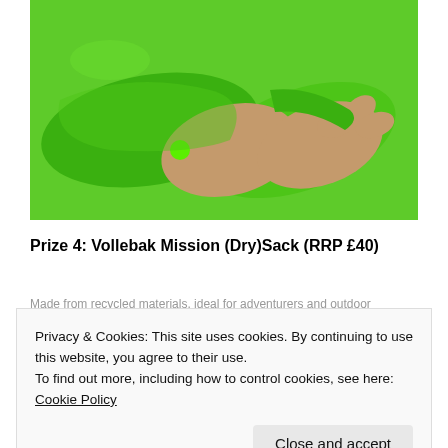[Figure (photo): Close-up photo of hands adjusting a bright neon green sleeve or strap against a green background]
Prize 4: Vollebak Mission (Dry)Sack (RRP £40)
Privacy & Cookies: This site uses cookies. By continuing to use this website, you agree to their use.
To find out more, including how to control cookies, see here: Cookie Policy
[Figure (photo): Partial bottom strip showing blue/grey imagery]